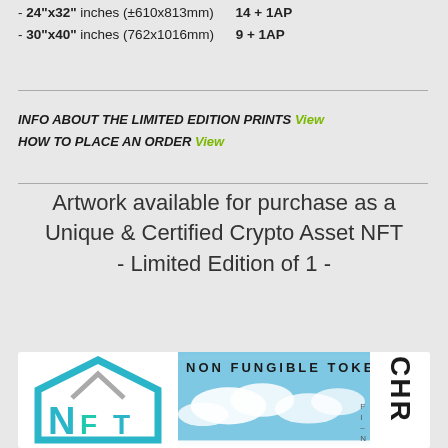- 24"x32" inches (±610x813mm)   14 + 1AP
- 30"x40" inches (762x1016mm)   9 + 1AP
INFO ABOUT THE LIMITED EDITION PRINTS  View
HOW TO PLACE AN ORDER  View
Artwork available for purchase as a Unique & Certified Crypto Asset NFT - Limited Edition of 1 -
[Figure (illustration): NFT (Non Fungible Token) badge/logo with teal house/token icon on left, sky and clouds in center, and vertical 'CHR' text on right side, all on white background]